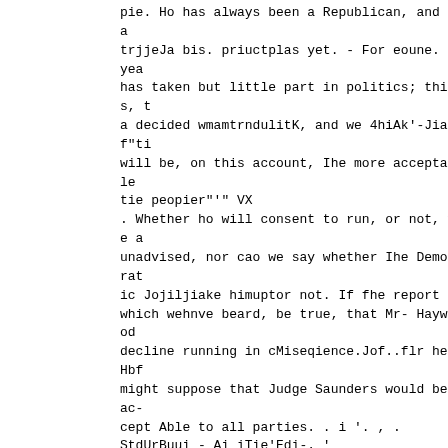pie. Ho has always been a Republican, and ia trjjeJa bis. priuctplas yet. - For eoune. .yea has taken but little part in politics; this, t a decided wmamtrndulitK, and we 4hiAk'-Jiaf"ti will be, on this account, Ihe more acceptable tie peopier"'" VX
. Whether ho will consent to run, or not, we a unadvised, nor cao we say whether Ihe Democrat ic Jojiljiake himuptor not. If fhe report , which wehnve beard, be true, that Mr- Haywood decline running in cMiseqience.Jof..flr heaHbf might suppose that Judge Saunders would be ac-cept Able to all parties. . i '. , .
StdUrBuui - Ai iTie'Edi-. '
fr . f L , V T.
f -WJi JKbhor lha irucAmuappeajnLlobe
too much engaged in fiis new vocation of proph ing. to take any notice of the actings and doi ol liie yreai " Kt'giu.iior. u oecoim-s usio g evee-Hre wtlenliHi to (twt- mallsf -thawe-olht Srse'alioTiTd'ojC
TJvenTilav. ni?'w"Iai'1Ts"'l,r ifcvel
t ' 0 "
Irh'tcH'onght To-nrease the pfegiiwtlte"np